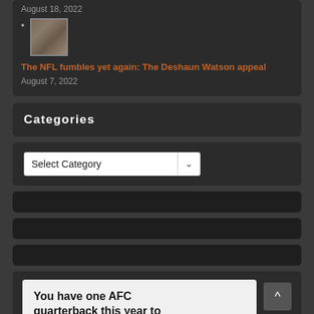August 18, 2022
[Figure (photo): Small thumbnail photo of a football player]
The NFL fumbles yet again: The Deshaun Watson appeal
August 7, 2022
Categories
Select Category
[Figure (other): Dark empty block widget area 1]
[Figure (other): Dark empty block widget area 2]
[Figure (other): Dark empty block widget area 3]
You have one AFC quarterback this year to